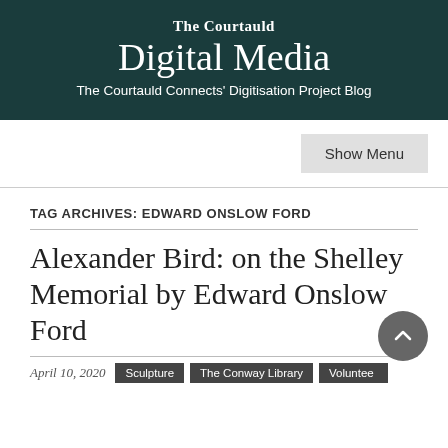The Courtauld
Digital Media
The Courtauld Connects' Digitisation Project Blog
TAG ARCHIVES: EDWARD ONSLOW FORD
Alexander Bird: on the Shelley Memorial by Edward Onslow Ford
April 10, 2020   Sculpture   The Conway Library   Volunteer